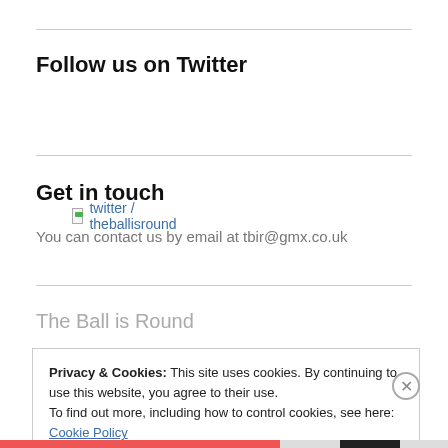Follow us on Twitter
twitter / theballisround
Get in touch
You can contact us by email at tbir@gmx.co.uk
The Ball is Round
Privacy & Cookies: This site uses cookies. By continuing to use this website, you agree to their use.
To find out more, including how to control cookies, see here: Cookie Policy
Close and accept